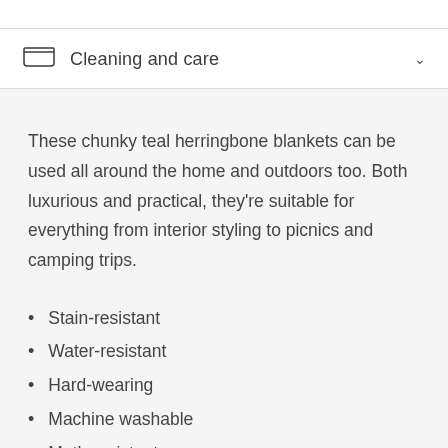Cleaning and care
These chunky teal herringbone blankets can be used all around the home and outdoors too. Both luxurious and practical, they're suitable for everything from interior styling to picnics and camping trips.
Stain-resistant
Water-resistant
Hard-wearing
Machine washable
Moth resistant
UV stable